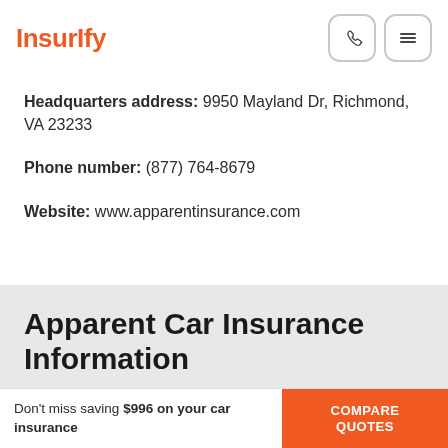iNSURiFY
Headquarters address: 9950 Mayland Dr, Richmond, VA 23233
Phone number: (877) 764-8679
Website: www.apparentinsurance.com
Apparent Car Insurance Information
Don't miss saving $996 on your car insurance   COMPARE QUOTES